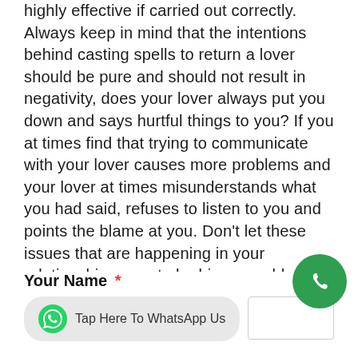highly effective if carried out correctly. Always keep in mind that the intentions behind casting spells to return a lover should be pure and should not result in negativity, does your lover always put you down and says hurtful things to you? If you at times find that trying to communicate with your lover causes more problems and your lover at times misunderstands what you had said, refuses to listen to you and points the blame at you. Don't let these issues that are happening in your relationship go on to be bigger problems, read more
Your Name *
Tap Here To WhatsApp Us